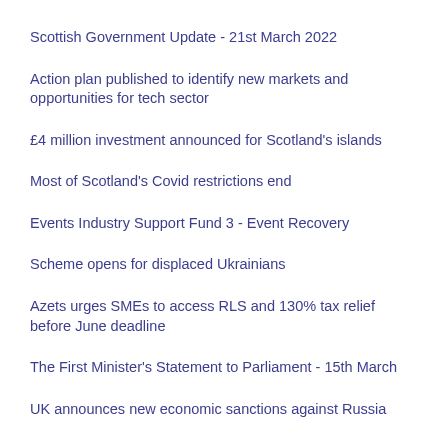Scottish Government Update - 21st March 2022
Action plan published to identify new markets and opportunities for tech sector
£4 million investment announced for Scotland's islands
Most of Scotland's Covid restrictions end
Events Industry Support Fund 3 - Event Recovery
Scheme opens for displaced Ukrainians
Azets urges SMEs to access RLS and 130% tax relief before June deadline
The First Minister's Statement to Parliament - 15th March
UK announces new economic sanctions against Russia